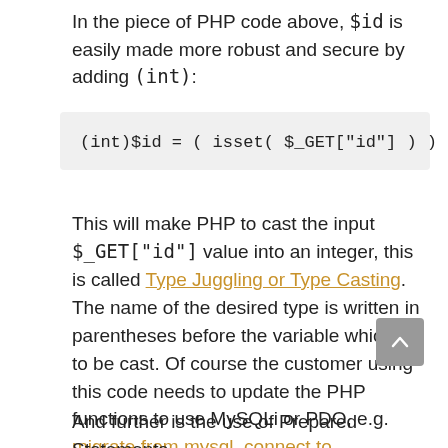In the piece of PHP code above, $id is easily made more robust and secure by adding (int):
This will make PHP to cast the input $_GET["id"] value into an integer, this is called Type Juggling or Type Casting. The name of the desired type is written in parentheses before the variable which is to be cast. Of course the customer using this code needs to update the PHP functions to use MySQLi or PDO, e.g. migrate from mysql_connect to mysqli_connect.
And further is the use of Prepared Statements